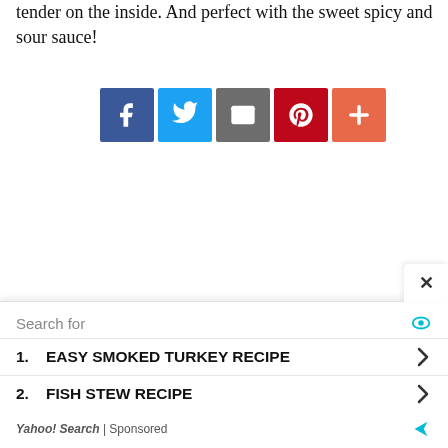tender on the inside. And perfect with the sweet spicy and sour sauce!
[Figure (other): Social sharing buttons: Facebook (blue), Twitter (light blue), Email (gray), Pinterest (dark red), Plus/More (orange-red)]
[Figure (other): Advertisement overlay with close button (x), search bar label 'Search for' with eye icon, two sponsored search results: 1. EASY SMOKED TURKEY RECIPE, 2. FISH STEW RECIPE, Yahoo! Search | Sponsored footer]